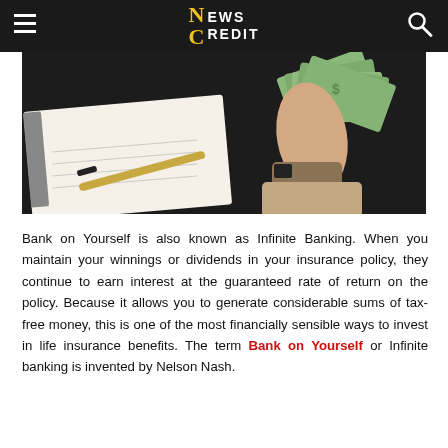NEWS CREDIT
[Figure (photo): Person holding fan of US dollar bills over a notebook with a pen, wearing a watch on wrist, dark background]
Bank on Yourself is also known as Infinite Banking. When you maintain your winnings or dividends in your insurance policy, they continue to earn interest at the guaranteed rate of return on the policy. Because it allows you to generate considerable sums of tax-free money, this is one of the most financially sensible ways to invest in life insurance benefits. The term Bank on Yourself or Infinite banking is invented by Nelson Nash.